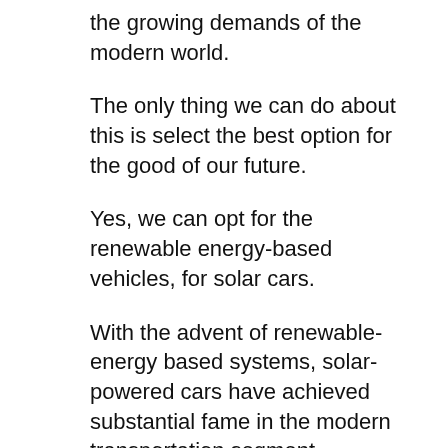the growing demands of the modern world.
The only thing we can do about this is select the best option for the good of our future.
Yes, we can opt for the renewable energy-based vehicles, for solar cars.
With the advent of renewable-energy based systems, solar-powered cars have achieved substantial fame in the modern transportation segment.
Several automobile firms are now active in producing solar technology based cars, and thus reshaping the existing automobile industry for a better tomorrow.